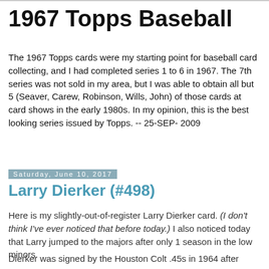1967 Topps Baseball
The 1967 Topps cards were my starting point for baseball card collecting, and I had completed series 1 to 6 in 1967. The 7th series was not sold in my area, but I was able to obtain all but 5 (Seaver, Carew, Robinson, Wills, John) of those cards at card shows in the early 1980s. In my opinion, this is the best looking series issued by Topps. -- 25-SEP-2009
Saturday, June 10, 2017
Larry Dierker (#498)
Here is my slightly-out-of-register Larry Dierker card. (I don't think I've ever noticed that before today.) I also noticed today that Larry jumped to the majors after only 1 season in the low minors.
Dierker was signed by the Houston Colt .45s in 1964 after